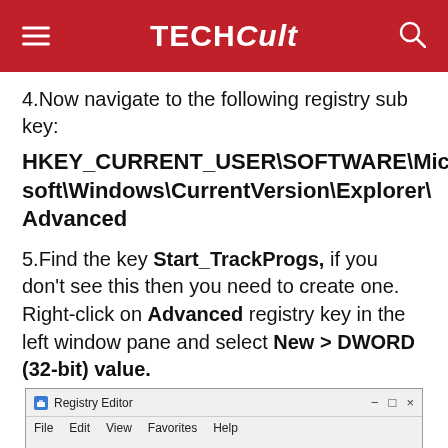TECHCult
4.Now navigate to the following registry sub key:
HKEY_CURRENT_USER\SOFTWARE\Microsoft\Windows\CurrentVersion\Explorer\Advanced
5.Find the key Start_TrackProgs, if you don't see this then you need to create one. Right-click on Advanced registry key in the left window pane and select New > DWORD (32-bit) value.
[Figure (screenshot): Registry Editor window screenshot showing title bar with minimize, maximize, close buttons, and menu bar with File, Edit, View, Favorites, Help options.]